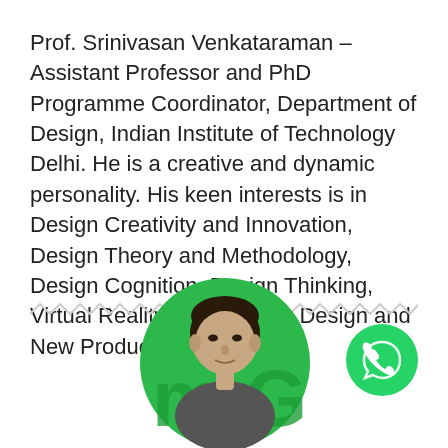Prof. Srinivasan Venkataraman – Assistant Professor and PhD Programme Coordinator, Department of Design, Indian Institute of Technology Delhi. He is a creative and dynamic personality. His keen interests is in Design Creativity and Innovation, Design Theory and Methodology, Design Cognition, Design Thinking, Virtual Reality, Engineering Design and New Product Development.
[Figure (illustration): Zigzag/wavy decorative divider line in light gray]
[Figure (photo): Circular cropped photo of Prof. Srinivasan Venkataraman with green background circle, showing man's face and shoulders, partially visible letters 'm' and 'G' in green]
[Figure (logo): WhatsApp green circular button with white phone/WhatsApp icon]